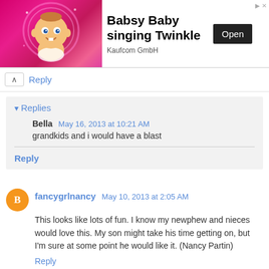[Figure (illustration): Advertisement banner for Babsy Baby singing Twinkle by Kaufcom GmbH. Shows an animated baby cartoon on a pink background on the left. Right side has bold text 'Babsy Baby singing Twinkle', company name 'Kaufcom GmbH', and a dark 'Open' button.]
Reply
▾ Replies
Bella May 16, 2013 at 10:21 AM
grandkids and i would have a blast
Reply
fancygrlnancy May 10, 2013 at 2:05 AM
This looks like lots of fun. I know my newphew and nieces would love this. My son might take his time getting on, but I'm sure at some point he would like it. (Nancy Partin)
Reply